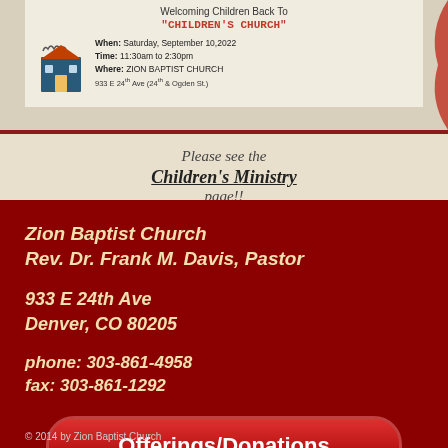[Figure (illustration): Partial view of a church flyer for Children's Church event at Zion Baptist Church. Shows an orange church icon with details: When: Saturday, September 10, 2022, Time: 11:30am to 2:30pm, Where: ZION BAPTIST CHURCH, with partial address cut off. Title partially visible reads Welcoming Children Back To. Subtitle in red: CHILDREN'S CHURCH. Red decorative accent on the right side.]
Please see the Children's Ministry page!!
Zion Baptist Church
Rev. Dr. Frank M. Davis, Pastor
933 E 24th Ave
Denver, CO 80205
phone: 303-861-4958
fax: 303-861-1292
Offerings/Donations
© 2014 by Zion Baptist Church